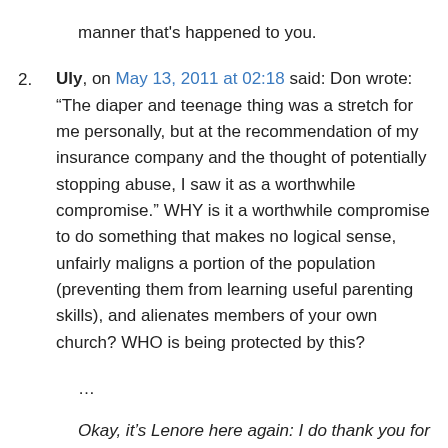manner that's happened to you.
Uly, on May 13, 2011 at 02:18 said: Don wrote: “The diaper and teenage thing was a stretch for me personally, but at the recommendation of my insurance company and the thought of potentially stopping abuse, I saw it as a worthwhile compromise.” WHY is it a worthwhile compromise to do something that makes no logical sense, unfairly maligns a portion of the population (preventing them from learning useful parenting skills), and alienates members of your own church? WHO is being protected by this?
…
Okay, it’s Lenore here again: I do thank you for writing in, Don. It is always good to get a dialog going. And I’m